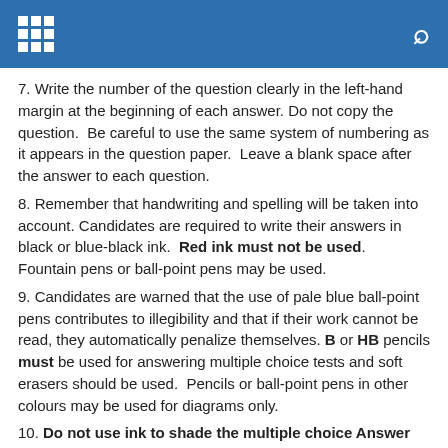7. Write the number of the question clearly in the left-hand margin at the beginning of each answer. Do not copy the question.  Be careful to use the same system of numbering as it appears in the question paper.  Leave a blank space after the answer to each question.
8. Remember that handwriting and spelling will be taken into account. Candidates are required to write their answers in black or blue-black ink.  Red ink must not be used.  Fountain pens or ball-point pens may be used.
9. Candidates are warned that the use of pale blue ball-point pens contributes to illegibility and that if their work cannot be read, they automatically penalize themselves. B or HB pencils must be used for answering multiple choice tests and soft erasers should be used.  Pencils or ball-point pens in other colours may be used for diagrams only.
10. Do not use ink to shade the multiple choice Answer Sheets.